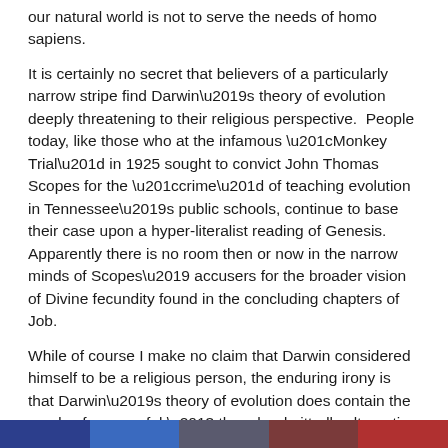our natural world is not to serve the needs of homo sapiens.
It is certainly no secret that believers of a particularly narrow stripe find Darwin's theory of evolution deeply threatening to their religious perspective.  People today, like those who at the infamous “Monkey Trial” in 1925 sought to convict John Thomas Scopes for the “crime” of teaching evolution in Tennessee’s public schools, continue to base their case upon a hyper-literalist reading of Genesis.  Apparently there is no room then or now in the narrow minds of Scopes’ accusers for the broader vision of Divine fecundity found in the concluding chapters of Job.
While of course I make no claim that Darwin considered himself to be a religious person, the enduring irony is that Darwin’s theory of evolution does contain the seeds of a powerful – though admittedly alternative – religious perspective, the perspective of the author of Job:  Our biological world, as it continues to evolve through the mechanism of natural selection, is an expression of Divine fecundity.
The vast web of life in which we are immersed can be read as a sacred text.  The natural world does not exist to serve our